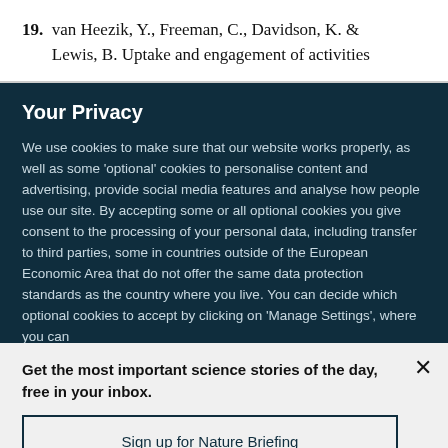19. van Heezik, Y., Freeman, C., Davidson, K. & Lewis, B. Uptake and engagement of activities
Your Privacy
We use cookies to make sure that our website works properly, as well as some 'optional' cookies to personalise content and advertising, provide social media features and analyse how people use our site. By accepting some or all optional cookies you give consent to the processing of your personal data, including transfer to third parties, some in countries outside of the European Economic Area that do not offer the same data protection standards as the country where you live. You can decide which optional cookies to accept by clicking on 'Manage Settings', where you can
Get the most important science stories of the day, free in your inbox.
Sign up for Nature Briefing